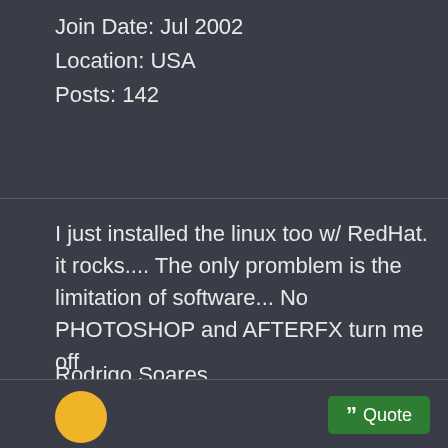Join Date: Jul 2002
Location: USA
Posts: 142
I just installed the linux too w/ RedHat. it rocks.... The only promblem is the limitation of software... No PHOTOSHOP and AFTERFX turn me off
Rodrigo Soares
www.r3dimensional.com